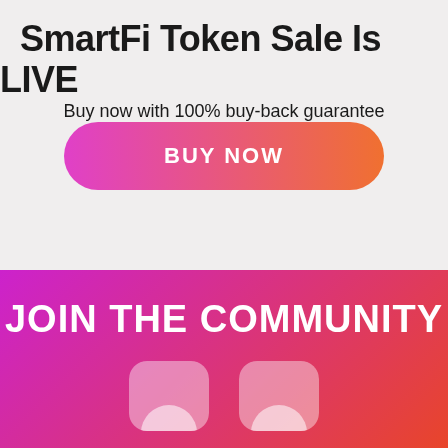SmartFi Token Sale Is LIVE
Buy now with 100% buy-back guarantee
[Figure (other): A pill-shaped button with a pink-to-orange gradient reading BUY NOW in white uppercase text]
[Figure (infographic): Pink-to-orange gradient banner section with white text reading JOIN THE COMMUNITY, and two rounded square icon placeholders at the bottom showing partial circular icons]